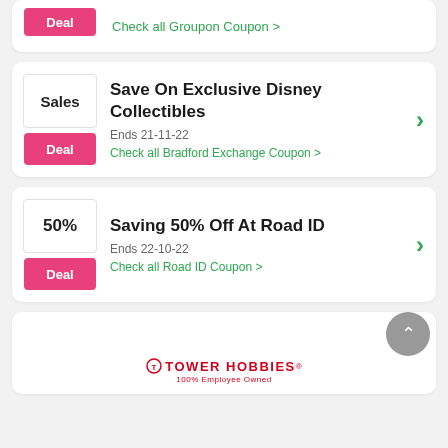Check all Groupon Coupon >
Save On Exclusive Disney Collectibles
Ends 21-11-22
Check all Bradford Exchange Coupon >
Saving 50% Off At Road ID
Ends 22-10-22
Check all Road ID Coupon >
[Figure (logo): Tower Hobbies logo with text '100% Employee Owned']